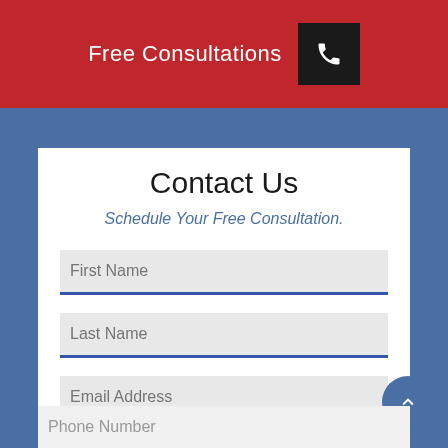Free Consultations
Contact Us
Schedule Your Free Consultation.
First Name
Last Name
Email Address
Phone Number